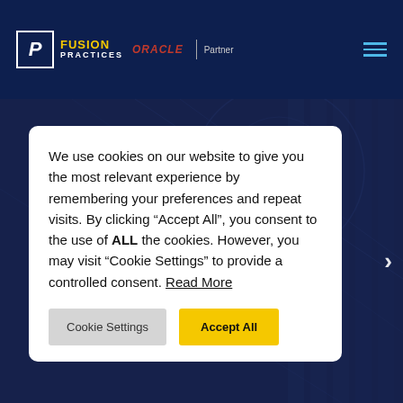[Figure (logo): Fusion Practices Oracle Partner logo with white F icon box, yellow FUSION text, white PRACTICES text, red ORACLE italic text, vertical divider, and gray Partner text]
We use cookies on our website to give you the most relevant experience by remembering your preferences and repeat visits. By clicking “Accept All”, you consent to the use of ALL the cookies. However, you may visit “Cookie Settings” to provide a controlled consent. Read More
Cookie Settings
Accept All